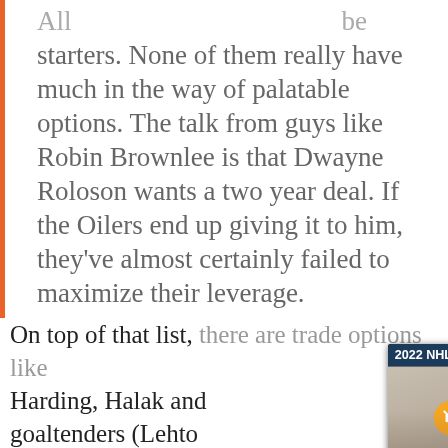All … be starters. None of them really have much in the way of palatable options. The talk from guys like Robin Brownlee is that Dwayne Roloson wants a two year deal. If the Oilers end up giving it to him, they've almost certainly failed to maximize their leverage.
On top of that list, there are trade options like Harding, Halak and… goaltenders (Lehto… was well ahead of… said that it made li… above-average goa… contracts; there's a…
[Figure (screenshot): Video popup overlay showing '2022 NHL Draft 1-on-1 – Jordan Gustafs…' with a close button (x). The popup shows two people side by side: on the left Jordan Gustafson (young man in casual setting, mute button visible, Draft logo top right), on the right Chris Wahl (man in dark clothing against a patterned background). Bottom name bars show 'GUSTAFSON' on the left and 'WAHL' on the right with WHL branding.]